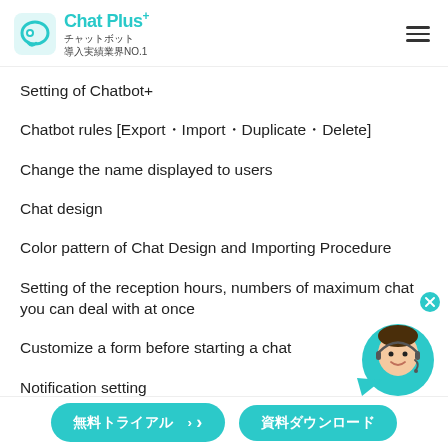Chat Plus+ チャットボット 導入実績業界NO.1
Setting of Chatbot+
Chatbot rules [Export・Import・Duplicate・Delete]
Change the name displayed to users
Chat design
Color pattern of Chat Design and Importing Procedure
Setting of the reception hours, numbers of maximum chat you can deal with at once
Customize a form before starting a chat
Notification setting
Setting of the chatbot dedicated account
[Figure (illustration): Chat support agent circular avatar with teal background, female agent with headset, close button at top right]
無料トライアル ›　資料ダウンロード